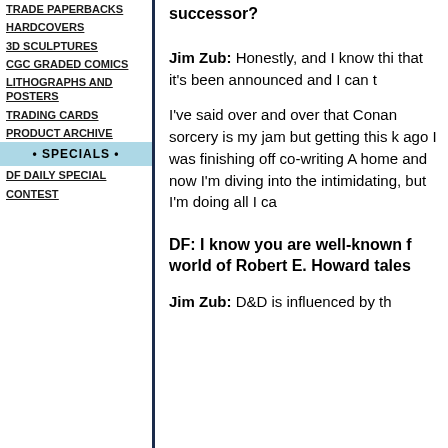TRADE PAPERBACKS
HARDCOVERS
3D SCULPTURES
CGC GRADED COMICS
LITHOGRAPHS AND POSTERS
TRADING CARDS
PRODUCT ARCHIVE
• SPECIALS •
DF DAILY SPECIAL
CONTEST
successor?
Jim Zub: Honestly, and I know thi that it's been announced and I can t
I've said over and over that Conan sorcery is my jam but getting this k ago I was finishing off co-writing A home and now I'm diving into the intimidating, but I'm doing all I ca
DF: I know you are well-known f world of Robert E. Howard tales
Jim Zub: D&D is influenced by th